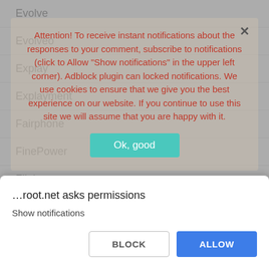Evolve
Evolveo
Explay
Explayment
Fairphone
FinePower
Flipkart
Fly
FLYCAT
FREETEL
Fujitsu
[Figure (screenshot): Cookie/notification consent popup overlay with orange text: 'Attention! To receive instant notifications about the responses to your comment, subscribe to notifications (click to Allow "Show notifications" in the upper left corner). Adblock plugin can locked notifications. We use cookies to ensure that we give you the best experience on our website. If you continue to use this site we will assume that you are happy with it.' and a teal 'Ok, good' button.]
[Figure (screenshot): Browser permission dialog at bottom: '…root.net asks permissions' / 'Show notifications' with BLOCK and ALLOW buttons.]